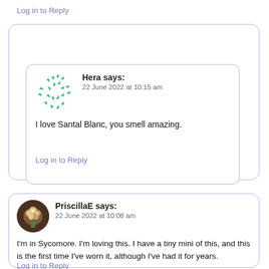Log in to Reply
Hera says:
22 June 2022 at 10:15 am
I love Santal Blanc, you smell amazing.
Log in to Reply
PriscillaE says:
22 June 2022 at 10:08 am
I'm in Sycomore. I'm loving this. I have a tiny mini of this, and this is the first time I've worn it, although I've had it for years.
Log in to Reply